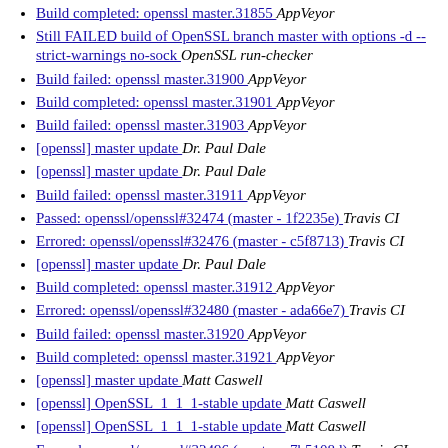Build completed: openssl master.31855  AppVeyor
Still FAILED build of OpenSSL branch master with options -d --strict-warnings no-sock  OpenSSL run-checker
Build failed: openssl master.31900  AppVeyor
Build completed: openssl master.31901  AppVeyor
Build failed: openssl master.31903  AppVeyor
[openssl] master update  Dr. Paul Dale
[openssl] master update  Dr. Paul Dale
Build failed: openssl master.31911  AppVeyor
Passed: openssl/openssl#32474 (master - 1f2235e)  Travis CI
Errored: openssl/openssl#32476 (master - c5f8713)  Travis CI
[openssl] master update  Dr. Paul Dale
Build completed: openssl master.31912  AppVeyor
Errored: openssl/openssl#32480 (master - ada66e7)  Travis CI
Build failed: openssl master.31920  AppVeyor
Build completed: openssl master.31921  AppVeyor
[openssl] master update  Matt Caswell
[openssl] OpenSSL_1_1_1-stable update  Matt Caswell
[openssl] OpenSSL_1_1_1-stable update  Matt Caswell
Errored: openssl/openssl#32496 (master - 7b5108d)  Travis CI
Build failed: openssl master.31934  AppVeyor
Build completed: openssl master.31935  AppVeyor